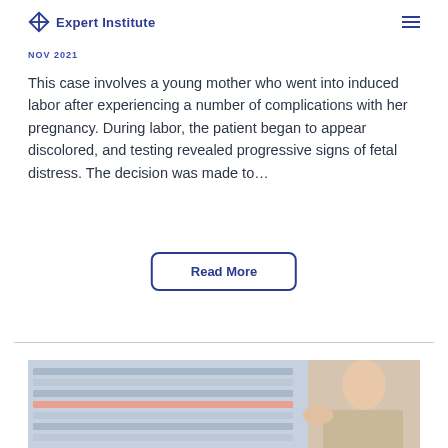Expert Institute
NOV 2021
This case involves a young mother who went into induced labor after experiencing a number of complications with her pregnancy. During labor, the patient began to appear discolored, and testing revealed progressive signs of fetal distress. The decision was made to…
Read More
[Figure (photo): Photo of a person reviewing medical files or records, partially visible at bottom of page]